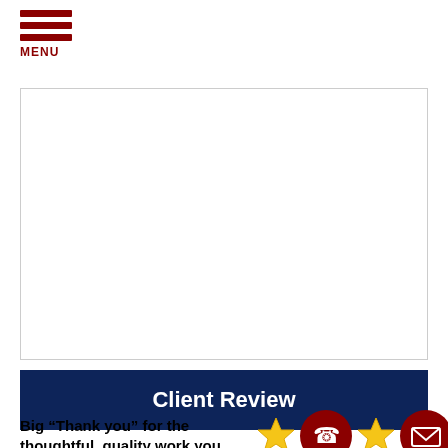MENU
[Figure (other): Empty white content box with border]
Client Review
Big “Thank you” for the thoughtful, quality work you and your team did!